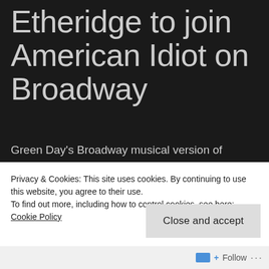Etheridge to join American Idiot on Broadway
Green Day's Broadway musical version of “American Idiot” is getting a makeover for one week next month.
Melissa Etheridge will be taking Billie Joe Armstrong’s place as “St. Jimmy” in the show...
Privacy & Cookies: This site uses cookies. By continuing to use this website, you agree to their use.
To find out more, including how to control cookies, see here:
Cookie Policy
Close and accept